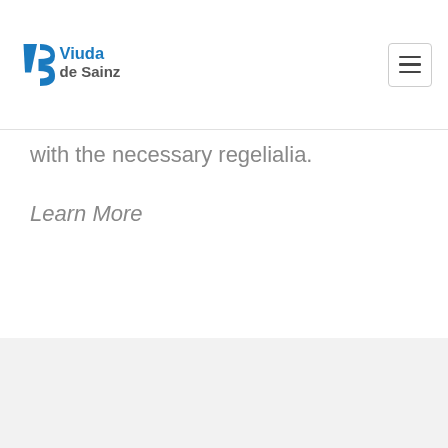Viuda de Sainz
with the necessary regelialia.
Learn More